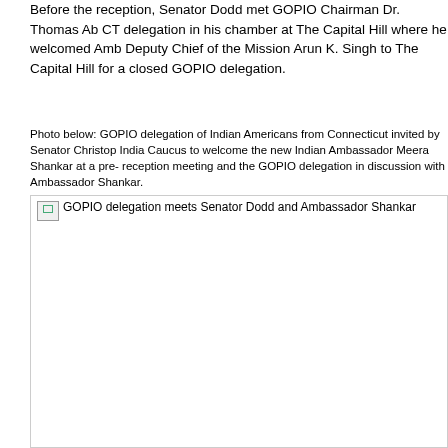Before the reception, Senator Dodd met GOPIO Chairman Dr. Thomas Ab CT delegation in his chamber at The Capital Hill where he welcomed Amb Deputy Chief of the Mission Arun K. Singh to The Capital Hill for a closed GOPIO delegation.
Photo below: GOPIO delegation of Indian Americans from Connecticut invited by Senator Christop India Caucus to welcome the new Indian Ambassador Meera Shankar at a pre- reception meeting and the GOPIO delegation in discussion with Ambassador Shankar.
[Figure (photo): Photo of GOPIO delegation meeting Senator Dodd and Ambassador Shankar. Image appears broken/missing in the original, showing only the alt text label.]